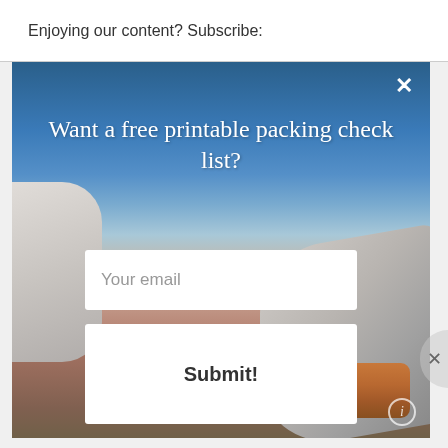Enjoying our content? Subscribe:
[Figure (screenshot): A popup modal overlay on a travel blog showing an airplane wing view from above clouds at sunset. The modal contains a headline offering a free printable packing check list, an email input field, and a Submit button. A close X button appears in the top right corner.]
Want a free printable packing check list?
Your email
Submit!